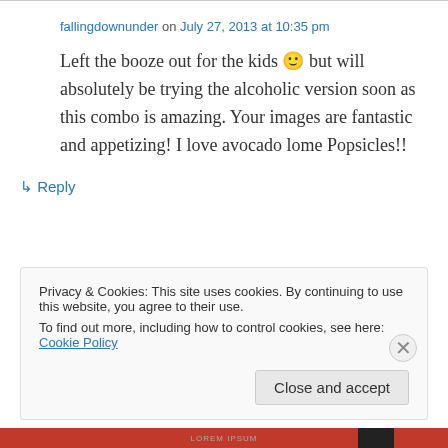fallingdownunder on July 27, 2013 at 10:35 pm
Left the booze out for the kids 🙂 but will absolutely be trying the alcoholic version soon as this combo is amazing. Your images are fantastic and appetizing! I love avocado lome Popsicles!!
↳ Reply
Privacy & Cookies: This site uses cookies. By continuing to use this website, you agree to their use.
To find out more, including how to control cookies, see here: Cookie Policy
Close and accept